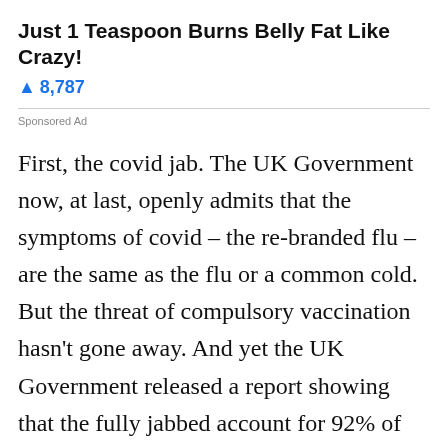Just 1 Teaspoon Burns Belly Fat Like Crazy!
🔺 8,787
Sponsored Ad
First, the covid jab. The UK Government now, at last, openly admits that the symptoms of covid – the re-branded flu – are the same as the flu or a common cold. But the threat of compulsory vaccination hasn't gone away. And yet the UK Government released a report showing that the fully jabbed account for 92% of all covid 19 deaths. The number of deaths among